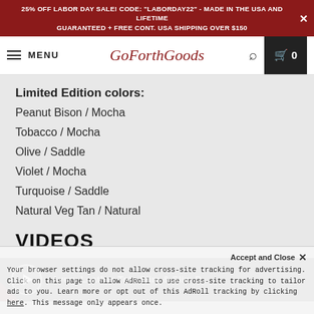25% OFF LABOR DAY SALE! CODE: "LABORDAY22" - MADE IN THE USA AND LIFETIME GUARANTEED + FREE CONT. USA SHIPPING OVER $150
MENU | GoForthGoods | Search | Cart 0
Limited Edition colors:
Peanut Bison / Mocha
Tobacco / Mocha
Olive / Saddle
Violet / Mocha
Turquoise / Saddle
Natural Veg Tan / Natural
VIDEOS
[Figure (screenshot): Video thumbnail showing play button with label 'Avery Leather Tote Slim & Slim D...' on dark background]
Accept and Close ✕
Your browser settings do not allow cross-site tracking for advertising. Click on this page to allow AdRoll to use cross-site tracking to tailor ads to you. Learn more or opt out of this AdRoll tracking by clicking here. This message only appears once.